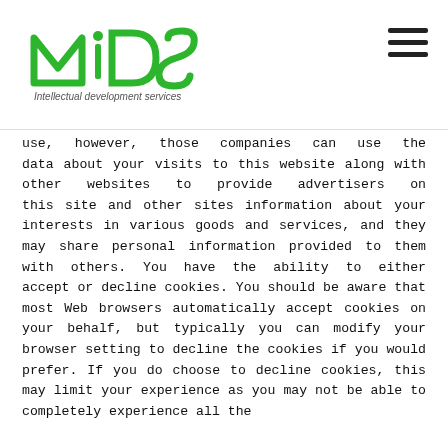[Figure (logo): MIDS - Intellectual development services logo with green stylized letters]
use, however, those companies can use the data about your visits to this website along with other websites to provide advertisers on this site and other sites information about your interests in various goods and services, and they may share personal information provided to them with others. You have the ability to either accept or decline cookies. You should be aware that most Web browsers automatically accept cookies on your behalf, but typically you can modify your browser setting to decline the cookies if you would prefer. If you do choose to decline cookies, this may limit your experience as you may not be able to completely experience all the